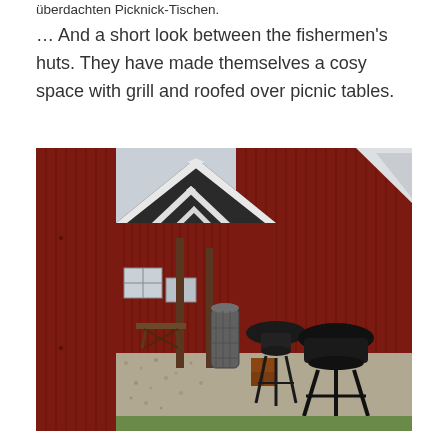überdachten Picknick-Tischen.
… And a short look between the fishermen's huts. They have made themselves a cosy space with grill and roofed over picnic tables.
[Figure (photo): Photograph of red fishermen's huts with characteristic white-trimmed pointed rooflines. Between the huts a gravel area is visible with a barbecue grill, a cylindrical wire basket, wooden picnic tables, and posts. The foreground is dominated by a large red wooden wall panel.]